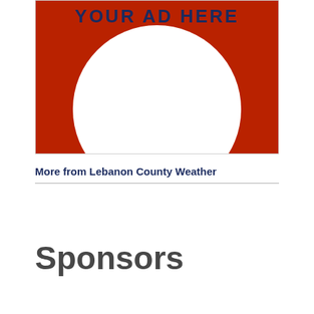[Figure (illustration): Advertisement placeholder image with dark red/crimson background and a large white circle. 'YOUR AD HERE' text in dark navy blue at the top in bold uppercase letters.]
More from Lebanon County Weather
Sponsors